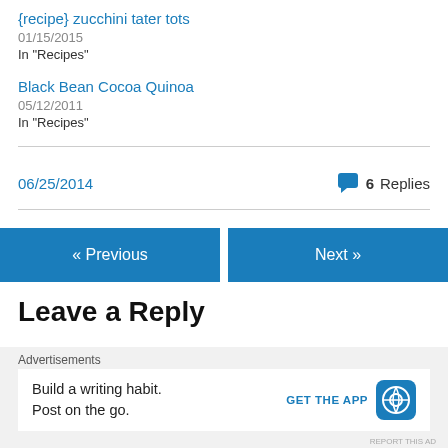{recipe} zucchini tater tots
01/15/2015
In "Recipes"
Black Bean Cocoa Quinoa
05/12/2011
In "Recipes"
06/25/2014
6 Replies
« Previous
Next »
Leave a Reply
Advertisements
Build a writing habit. Post on the go.
GET THE APP